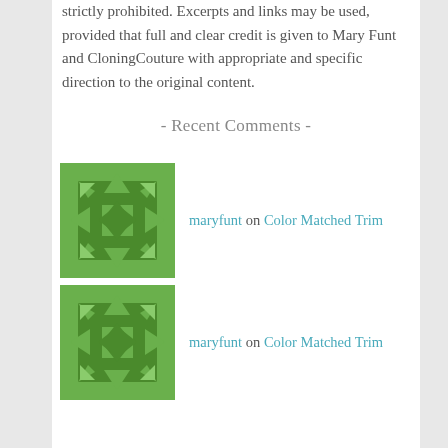strictly prohibited. Excerpts and links may be used, provided that full and clear credit is given to Mary Funt and CloningCouture with appropriate and specific direction to the original content.
- Recent Comments -
maryfunt on Color Matched Trim
maryfunt on Color Matched Trim
maryfunt on Recreating Couture
maryfunt on Color Matched Trim
Lori Brocesky on Creating Custom Trim